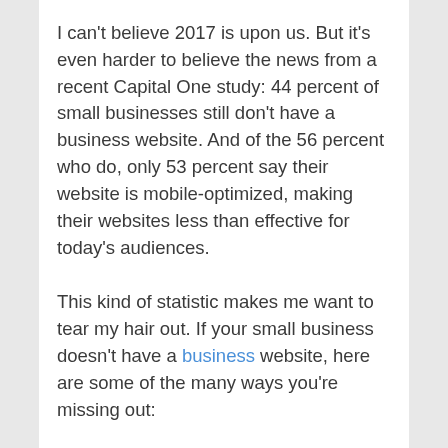I can't believe 2017 is upon us. But it's even harder to believe the news from a recent Capital One study: 44 percent of small businesses still don't have a business website. And of the 56 percent who do, only 53 percent say their website is mobile-optimized, making their websites less than effective for today's audiences.
This kind of statistic makes me want to tear my hair out. If your small business doesn't have a business website, here are some of the many ways you're missing out:
Your email marketing is less effective than it could be